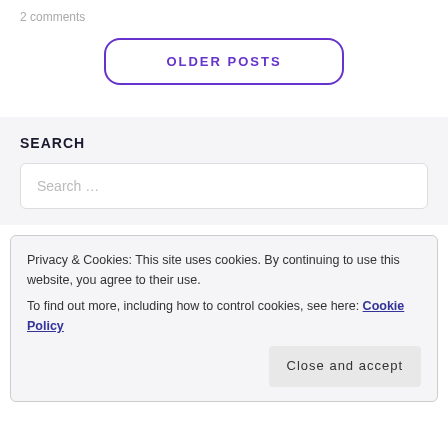2 comments
OLDER POSTS
SEARCH
Search …
Privacy & Cookies: This site uses cookies. By continuing to use this website, you agree to their use.
To find out more, including how to control cookies, see here: Cookie Policy
Close and accept